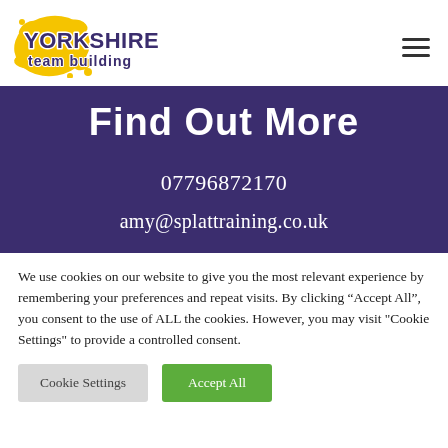[Figure (logo): Yorkshire Team Building logo with yellow splat graphic and stylized text]
Find Out More
07796872170
amy@splattraining.co.uk
We use cookies on our website to give you the most relevant experience by remembering your preferences and repeat visits. By clicking "Accept All", you consent to the use of ALL the cookies. However, you may visit "Cookie Settings" to provide a controlled consent.